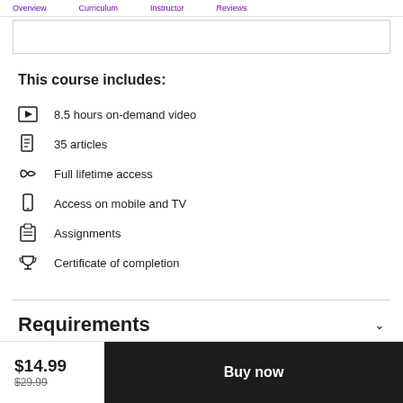Overview  Curriculum  Instructor  Reviews
This course includes:
8.5 hours on-demand video
35 articles
Full lifetime access
Access on mobile and TV
Assignments
Certificate of completion
Requirements
$14.99  $29.99  Buy now